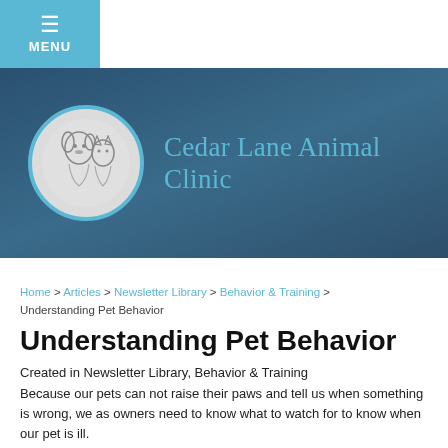MENU
[Figure (logo): Cedar Lane Animal Clinic logo with circular badge showing animals (dog, cat, rabbit) and clinic name text in teal on dark blue banner background]
Home > Articles > Newsletter Library > Behavior & Training > Understanding Pet Behavior
Understanding Pet Behavior
Created in Newsletter Library, Behavior & Training
Because our pets can not raise their paws and tell us when something is wrong, we as owners need to know what to watch for to know when our pet is ill.